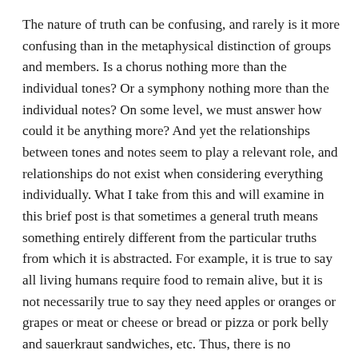The nature of truth can be confusing, and rarely is it more confusing than in the metaphysical distinction of groups and members. Is a chorus nothing more than the individual tones? Or a symphony nothing more than the individual notes? On some level, we must answer how could it be anything more? And yet the relationships between tones and notes seem to play a relevant role, and relationships do not exist when considering everything individually. What I take from this and will examine in this brief post is that sometimes a general truth means something entirely different from the particular truths from which it is abstracted. For example, it is true to say all living humans require food to remain alive, but it is not necessarily true to say they need apples or oranges or grapes or meat or cheese or bread or pizza or pork belly and sauerkraut sandwiches, etc. Thus, there is no particular food that humans need to eat. But it does not follow from this that human beings do not need to eat